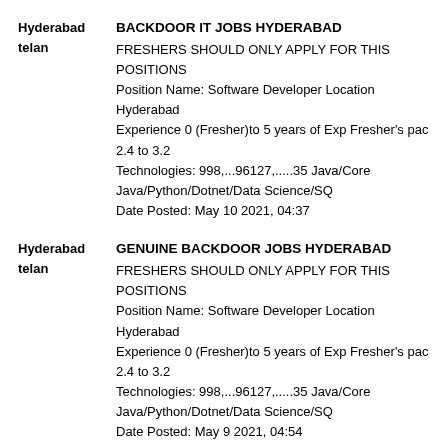Hyderabad telan | BACKDOOR IT JOBS HYDERABAD
FRESHERS SHOULD ONLY APPLY FOR THIS POSITIONS
Position Name: Software Developer Location Hyderabad
Experience 0 (Fresher)to 5 years of Exp Fresher's pac 2.4 to 3.2
Technologies: 998,...96127,.....35 Java/Core Java/Python/Dotnet/Data Science/SQ
Date Posted: May 10 2021, 04:37
Hyderabad telan | GENUINE BACKDOOR JOBS HYDERABAD
FRESHERS SHOULD ONLY APPLY FOR THIS POSITIONS
Position Name: Software Developer Location Hyderabad
Experience 0 (Fresher)to 5 years of Exp Fresher's pac 2.4 to 3.2
Technologies: 998,...96127,.....35 Java/Core Java/Python/Dotnet/Data Science/SQ
Date Posted: May 9 2021, 04:54
Hyderabad telan | FRESHER/IT/HYDERABAD/JOBS
FRESHERS SHOULD ONLY APPLY FOR THIS POSITIONS
Position Name: Software Developer Location Hyderabad